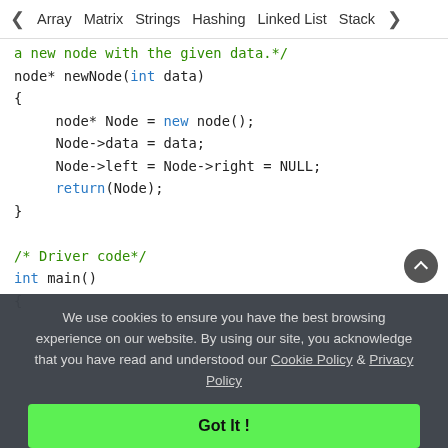Array  Matrix  Strings  Hashing  Linked List  Stack
[Figure (screenshot): C++ code snippet showing newNode function and main() function for BST construction. Code includes comments, node allocation, pointer assignments, and driver code.]
We use cookies to ensure you have the best browsing experience on our website. By using our site, you acknowledge that you have read and understood our Cookie Policy & Privacy Policy
Got It !